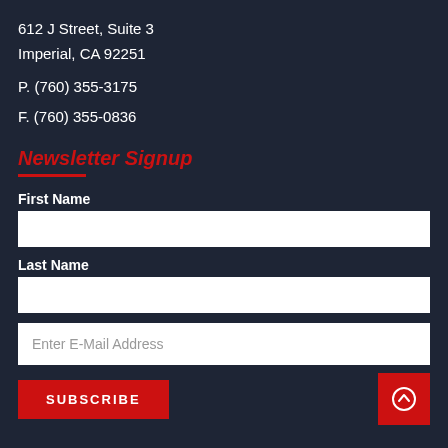612 J Street, Suite 3
Imperial, CA 92251
P. (760) 355-3175
F. (760) 355-0836
Newsletter Signup
First Name
Last Name
Enter E-Mail Address
SUBSCRIBE